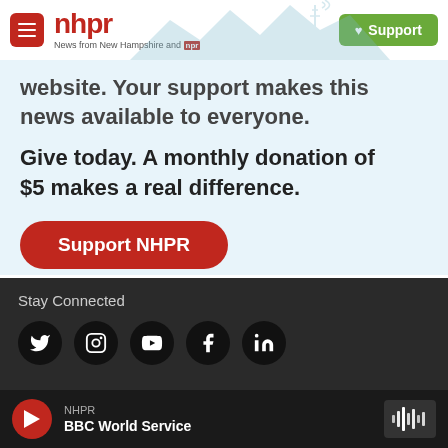[Figure (logo): NHPR header with logo, hamburger menu, mountain/radio tower background illustration, and green Support button]
website. Your support makes this news available to everyone.
Give today. A monthly donation of $5 makes a real difference.
Support NHPR
Stay Connected
[Figure (infographic): Row of five social media icons: Twitter, Instagram, YouTube, Facebook, LinkedIn]
NHPR BBC World Service